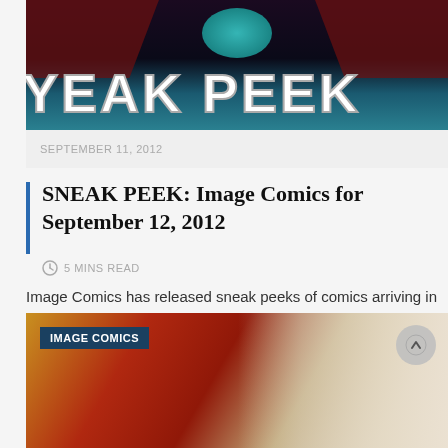[Figure (illustration): Sneak Peek comic book banner image with dark figure on teal background and large 'SNEAK PEEK' text in white bold letters]
SEPTEMBER 11, 2012
SNEAK PEEK: Image Comics for September 12, 2012
5 MINS READ
Image Comics has released sneak peeks of comics arriving in stores this week.  Take the...
READ MORE
[Figure (illustration): Image Comics banner with colorful comic art showing a female character, with 'IMAGE COMICS' badge in dark blue and a scroll-up arrow button]